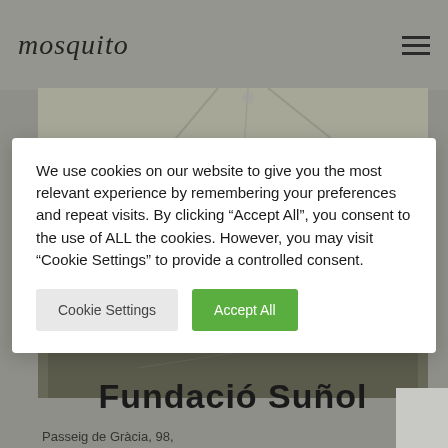[Figure (screenshot): Website header with cursive 'mosquito' logo on the left and a hamburger menu icon on the right, over a grey background]
[Figure (photo): Partial photo of an architectural/interior scene with diagonal lines, partially covered by a cookie consent modal. Below the photo shows 'Fundació Suñol' as a bold title.]
We use cookies on our website to give you the most relevant experience by remembering your preferences and repeat visits. By clicking “Accept All”, you consent to the use of ALL the cookies. However, you may visit “Cookie Settings” to provide a controlled consent.
Cookie Settings
Accept All
Fundació Suñol
Passeig de Gràcia, 98,